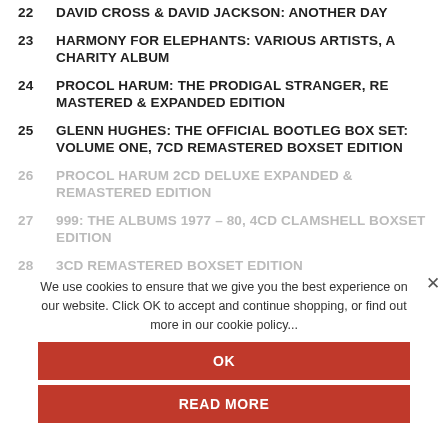22   DAVID CROSS & DAVID JACKSON: ANOTHER DAY
23   HARMONY FOR ELEPHANTS: VARIOUS ARTISTS, A CHARITY ALBUM
24   PROCOL HARUM: THE PRODIGAL STRANGER, REMASTERED & EXPANDED EDITION
25   GLENN HUGHES: THE OFFICIAL BOOTLEG BOX SET: VOLUME ONE, 7CD REMASTERED BOXSET EDITION
26   PROCOL HARUM 2CD DELUXE EXPANDED & REMASTERED EDITION
27   999: THE ALBUMS 1977–80, 4CD CLAMSHELL BOXSET EDITION
28   ...3CD REMASTERED BOXSET EDITION
We use cookies to ensure that we give you the best experience on our website. Click OK to accept and continue shopping, or find out more in our cookie policy...
OK
READ MORE